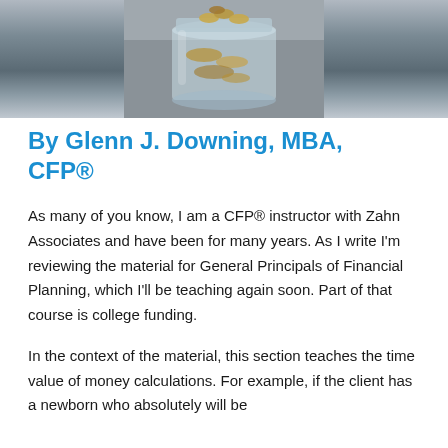[Figure (photo): A glass jar filled with coins, placed on a wooden surface, photographed from above at slight angle.]
By Glenn J. Downing, MBA, CFP®
As many of you know, I am a CFP® instructor with Zahn Associates and have been for many years. As I write I'm reviewing the material for General Principals of Financial Planning, which I'll be teaching again soon. Part of that course is college funding.
In the context of the material, this section teaches the time value of money calculations. For example, if the client has a newborn who absolutely will be